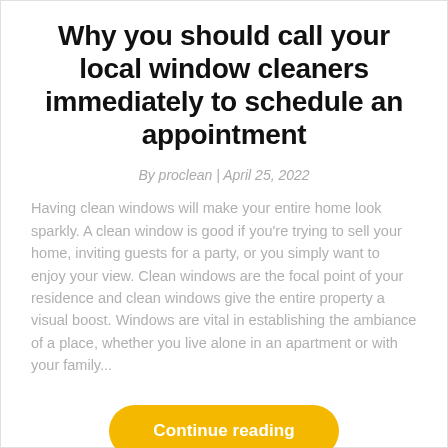Why you should call your local window cleaners immediately to schedule an appointment
By proclean | April 25, 2022
Having clean windows will make your entire home look sparkly. A clean window is good if you're trying to sell your home, inviting guests for a party, or you simply want to enjoy your view. Clean windows are the focal point of your residence and clean windows give the entire property a visual boost. Windows are vital in establishing the ambiance of a place, whether you live alone in an apartment or with your family...
Continue reading